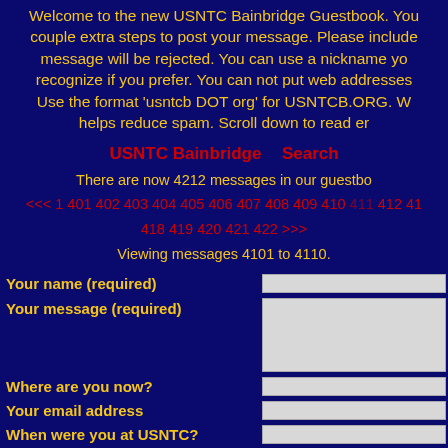Welcome to the new USNTC Bainbridge Guestbook. You couple extra steps to post your message. Please include message will be rejected. You can use a nickname you recognize if you prefer. You can not put web addresses Use the format 'usntcb DOT org' for USNTCB.ORG. W helps reduce spam. Scroll down to read er
USNTC Bainbridge   Search
There are now 4212 messages in our guestbo
<<< 1 401 402 403 404 405 406 407 408 409 410 411 412 41
418 419 420 421 422 >>>
Viewing messages 4101 to 4110.
Your name (required)
Your message (required)
Where are you now?
Your email address
When were you at USNTC?
What was your unit / rank?
Are you a member?